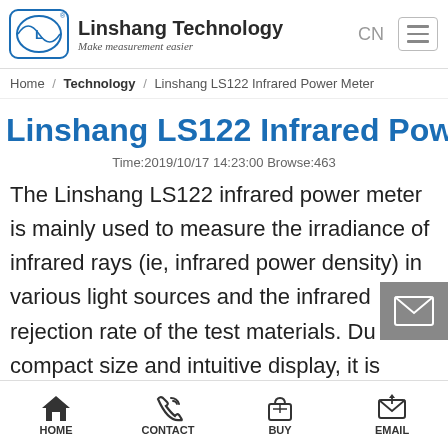Linshang Technology — Make measurement easier
Home / Technology / Linshang LS122 Infrared Power Meter
Linshang LS122 Infrared Power Meter
Time:2019/10/17 14:23:00 Browse:463
The Linshang LS122 infrared power meter is mainly used to measure the irradiance of infrared rays (ie, infrared power density) in various light sources and the infrared rejection rate of the test materials. Du its compact size and intuitive display, it is widely used
HOME    CONTACT    BUY    EMAIL